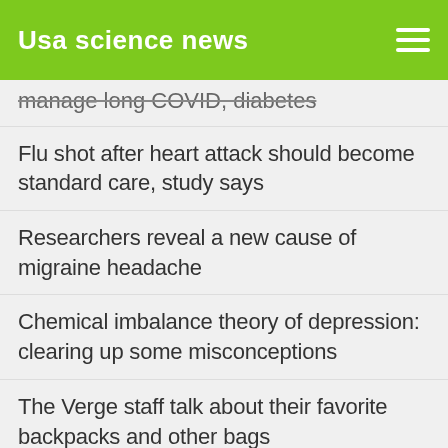Usa science news
manage long COVID, diabetes
Flu shot after heart attack should become standard care, study says
Researchers reveal a new cause of migraine headache
Chemical imbalance theory of depression: clearing up some misconceptions
The Verge staff talk about their favorite backpacks and other bags
Nichelle Nichols' ashes will voyage to space aboard a Vulcan rocket